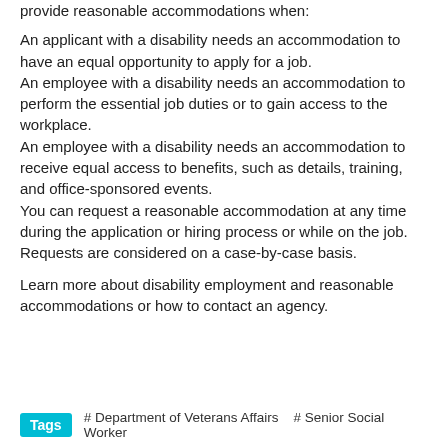provide reasonable accommodations when:
An applicant with a disability needs an accommodation to have an equal opportunity to apply for a job.
An employee with a disability needs an accommodation to perform the essential job duties or to gain access to the workplace.
An employee with a disability needs an accommodation to receive equal access to benefits, such as details, training, and office-sponsored events.
You can request a reasonable accommodation at any time during the application or hiring process or while on the job. Requests are considered on a case-by-case basis.
Learn more about disability employment and reasonable accommodations or how to contact an agency.
Tags  #Department of Veterans Affairs  #Senior Social Worker